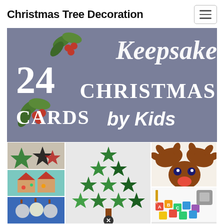Christmas Tree Decoration
[Figure (illustration): Promotional image for '24 Keepsake Christmas Cards by Kids' showing text on a purple-gray background with holly decorations, and a collage of children's Christmas card photos below including star cards, a Christmas tree made of green stars, a handprint reindeer, gingerbread house cards, and craft supplies.]